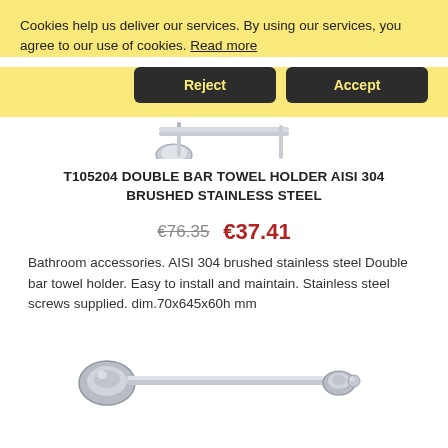Cookies help us deliver our services. By using our services, you agree to our use of cookies. Read more
[Figure (other): Reject and Accept buttons in dark rounded rectangles on yellow cookie banner]
[Figure (photo): Partial view of a brushed stainless steel double bar towel holder, cropped at top]
T105204 DOUBLE BAR TOWEL HOLDER AISI 304 BRUSHED STAINLESS STEEL
€76.35  €37.41
Bathroom accessories. AISI 304 brushed stainless steel Double bar towel holder. Easy to install and maintain. Stainless steel screws supplied. dim.70x645x60h mm
[Figure (photo): Single bar towel holder in brushed stainless steel with oval mounting brackets at each end]